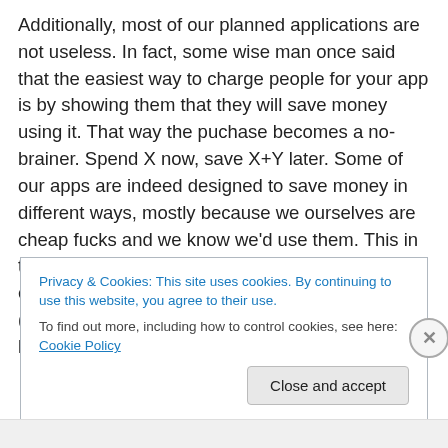Additionally, most of our planned applications are not useless. In fact, some wise man once said that the easiest way to charge people for your app is by showing them that they will save money using it. That way the puchase becomes a no-brainer. Spend X now, save X+Y later. Some of our apps are indeed designed to save money in different ways, mostly because we ourselves are cheap fucks and we know we'd use them. This in turn makes it possible to charge more than the established App Store lowest price of 99 cents (that's 7 SEK in the Swedish App Store for our local readers).
Privacy & Cookies: This site uses cookies. By continuing to use this website, you agree to their use. To find out more, including how to control cookies, see here: Cookie Policy